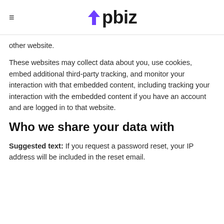upbiz
other website.
These websites may collect data about you, use cookies, embed additional third-party tracking, and monitor your interaction with that embedded content, including tracking your interaction with the embedded content if you have an account and are logged in to that website.
Who we share your data with
Suggested text: If you request a password reset, your IP address will be included in the reset email.